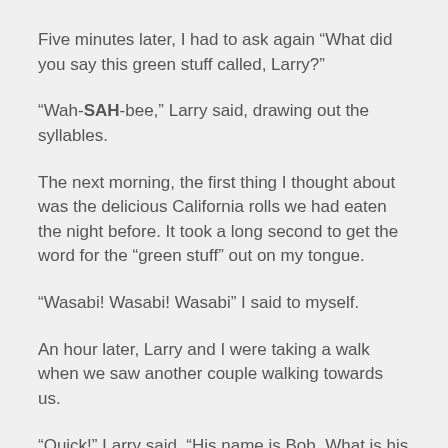Five minutes later, I had to ask again “What did you say this green stuff called, Larry?”
“Wah-SAH-bee,” Larry said, drawing out the syllables.
The next morning, the first thing I thought about was the delicious California rolls we had eaten the night before. It took a long second to get the word for the “green stuff” out on my tongue.
“Wasabi! Wasabi! Wasabi” I said to myself.
An hour later, Larry and I were taking a walk when we saw another couple walking towards us.
“Quick!” Larry said. “His name is Bob. What is his wife’s name?”